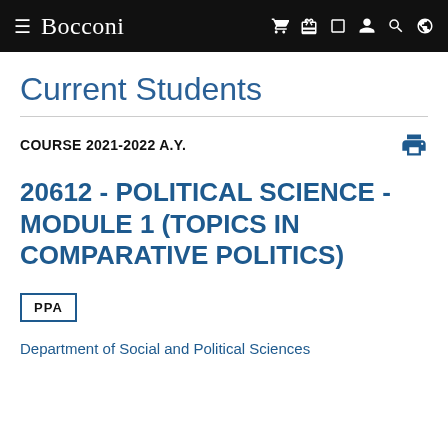Bocconi
Current Students
COURSE 2021-2022 A.Y.
20612 - POLITICAL SCIENCE - MODULE 1 (TOPICS IN COMPARATIVE POLITICS)
PPA
Department of Social and Political Sciences